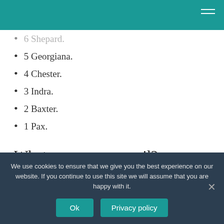5 Georgiana.
4 Chester.
3 Indra.
2 Baxter.
1 Pax.
What names mean evil?
Names Meaning Evil
We use cookies to ensure that we give you the best experience on our website. If you continue to use this site we will assume that you are happy with it.